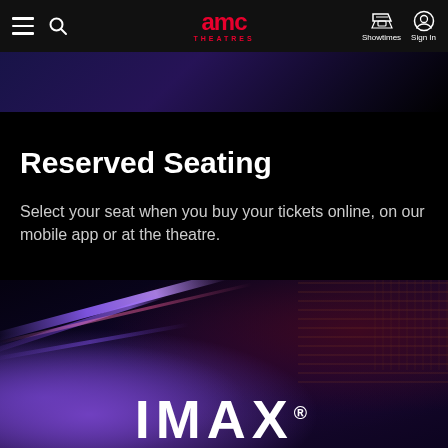AMC THEATRES — Navigation bar with hamburger menu, search, logo, Showtimes, Sign In
[Figure (photo): Dark cinematic hero banner image at top, dark purple/blue tones]
Reserved Seating
Select your seat when you buy your tickets online, on our mobile app or at the theatre.
[Figure (photo): IMAX promotional image with light beams, projector, and large IMAX logo at bottom]